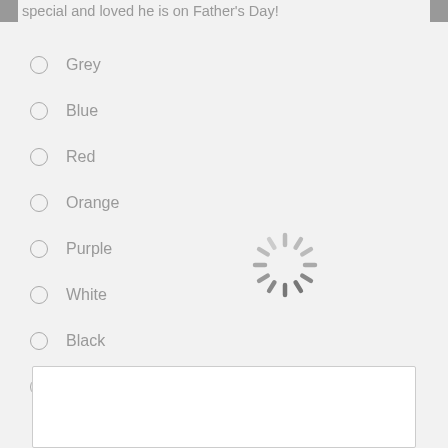special and loved he is on Father's Day!
Grey
Blue
Red
Orange
Purple
White
Black
Silver
[Figure (other): Loading spinner (animated circle of dashes)]